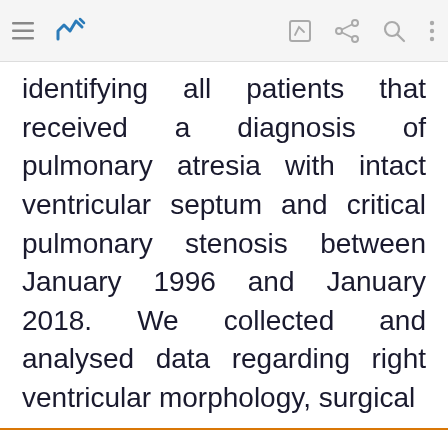[Figure (screenshot): Browser toolbar with hamburger menu, bookmark/notes icon in blue, edit icon, share icon, search icon, and vertical dots menu.]
identifying all patients that received a diagnosis of pulmonary atresia with intact ventricular septum and critical pulmonary stenosis between January 1996 and January 2018. We collected and analysed data regarding right ventricular morphology, surgical
We use cookies that are necessary to make our site work. We may also use additional cookies to analyze, improve, and personalize our content and your digital experience. For more information, see our Cookie Policy
Cookie settings
Accept all cookies